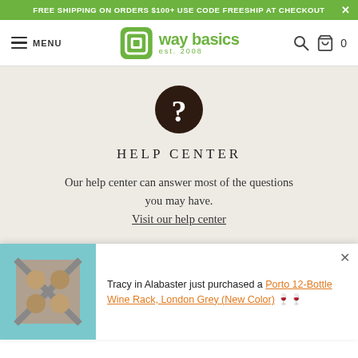FREE SHIPPING ON ORDERS $100+ USE CODE FREESHIP AT CHECKOUT ×
[Figure (screenshot): Way Basics navigation bar with hamburger menu, logo (green square icon with 'way basics est. 2008'), search icon, cart icon, and 0 item count]
[Figure (other): Dark brown circle icon with white question mark]
HELP CENTER
Our help center can answer most of the questions you may have. Visit our help center
Tracy in Alabaster just purchased a Porto 12-Bottle Wine Rack, London Grey (New Color) 🍷🍷